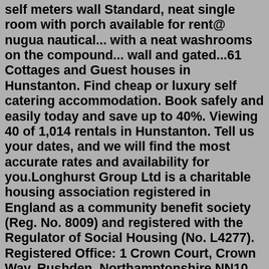self meters wall Standard, neat single room with porch available for rent@ nugua nautical... with a neat washrooms on the compound... wall and gated...61 Cottages and Guest houses in Hunstanton. Find cheap or luxury self catering accommodation. Book safely and easily today and save up to 40%. Viewing 40 of 1,014 rentals in Hunstanton. Tell us your dates, and we will find the most accurate rates and availability for you.Longhurst Group Ltd is a charitable housing association registered in England as a community benefit society (Reg. No. 8009) and registered with the Regulator of Social Housing (No. L4277). Registered Office: 1 Crown Court, Crown Way, Rushden, Northamptonshire NN10 6BS. VAT Reg No. 326 0270 36. Sheltered housing. Over 55s Over 60s housing from housing associations, councils and agents. Search affordable sheltered housing across the UK. Find immediate sheltered housing vacancies. Over 55s sheltered housing and Over 60s sheltered housing for rent from housing associations, councils and other providers. Jun 06, 2022 ·